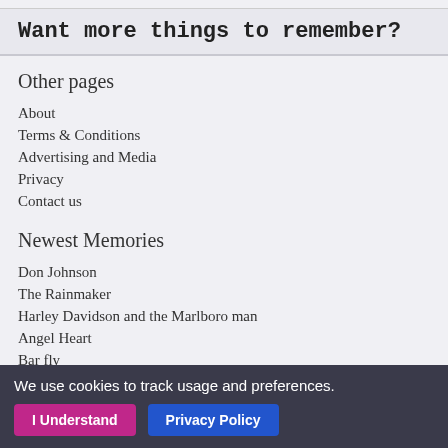Want more things to remember?
Other pages
About
Terms & Conditions
Advertising and Media
Privacy
Contact us
Newest Memories
Don Johnson
The Rainmaker
Harley Davidson and the Marlboro man
Angel Heart
Bar fly
The Pope of Greenwich Village
Rumble fish
Buffalo 66
Mickey Rourke
Words and Pictures
We use cookies to track usage and preferences. I Understand  Privacy Policy